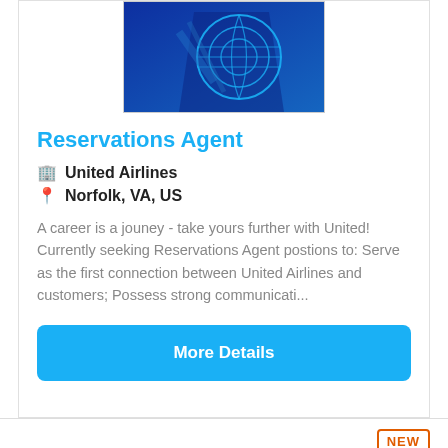[Figure (logo): United Airlines tail logo — blue gradient background with circular globe design in blue tones]
Reservations Agent
🏢 United Airlines
📍 Norfolk, VA, US
A career is a jouney - take yours further with United! Currently seeking Reservations Agent postions to: Serve as the first connection between United Airlines and customers; Possess strong communicati...
More Details
[Figure (logo): Delta Air Lines widget/logo card — dark navy background with red and pink geometric delta triangle shape]